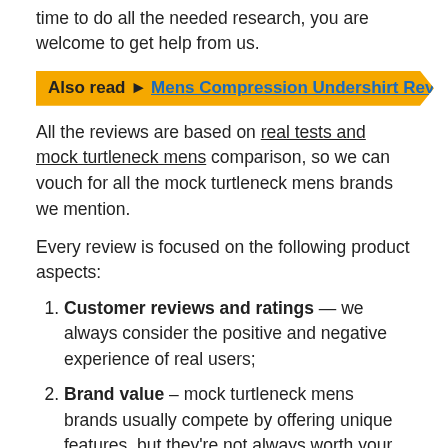time to do all the needed research, you are welcome to get help from us.
Also read 🔷 Mens Compression Undershirt Review 🔶
All the reviews are based on real tests and mock turtleneck mens comparison, so we can vouch for all the mock turtleneck mens brands we mention.
Every review is focused on the following product aspects:
Customer reviews and ratings — we always consider the positive and negative experience of real users;
Brand value – mock turtleneck mens brands usually compete by offering unique features, but they're not always worth your attention. We figure it out for you;
Features – what specs matter for a mock turtleneck